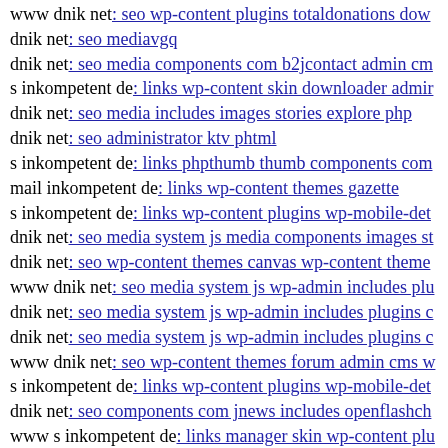www dnik net: seo wp-content plugins totaldonations dow
dnik net: seo mediavgq
dnik net: seo media components com b2jcontact admin cm
s inkompetent de: links wp-content skin downloader admir
dnik net: seo media includes images stories explore php
dnik net: seo administrator ktv phtml
s inkompetent de: links phpthumb thumb components com
mail inkompetent de: links wp-content themes gazette
s inkompetent de: links wp-content plugins wp-mobile-det
dnik net: seo media system js media components images st
dnik net: seo wp-content themes canvas wp-content theme
www dnik net: seo media system js wp-admin includes plu
dnik net: seo media system js wp-admin includes plugins c
dnik net: seo media system js wp-admin includes plugins c
www dnik net: seo wp-content themes forum admin cms w
s inkompetent de: links wp-content plugins wp-mobile-det
dnik net: seo components com jnews includes openflashch
www s inkompetent de: links manager skin wp-content plu
dnik net: seo media system js wp-admin includes plugins c
dnik net: seo media system js media skin wp-includes wp-